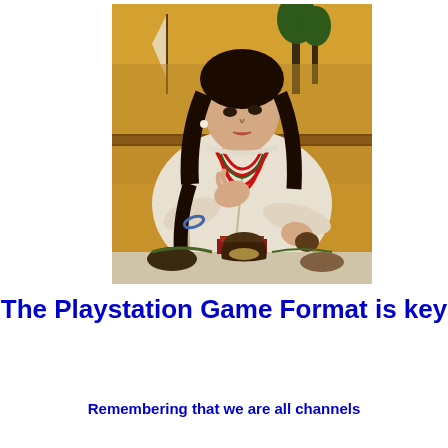[Figure (illustration): A Pre-Raphaelite style painting of a dark-haired woman in a white robe wearing multiple red necklaces, holding objects at a table with various items. Golden background with a sailing vessel visible. Appears to be a depiction of Medea or a similar classical figure.]
The Playstation Game Format is key
Remembering that we are all channels